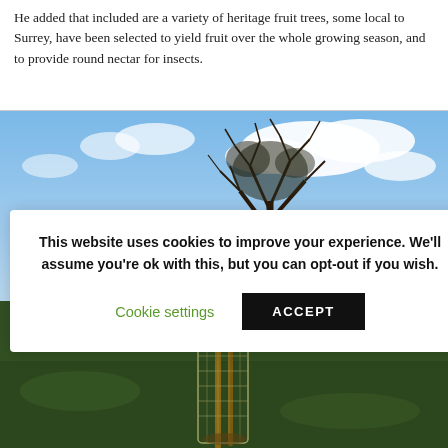He added that included are a variety of heritage fruit trees, some local to Surrey, have been selected to yield fruit over the whole growing season, and to provide round nectar for insects.
[Figure (photo): Composite photograph showing a bare tree against a blue sky with clouds (top), and a young sapling protected by a wire mesh guard on grass (bottom), with a cookie consent overlay in the middle.]
This website uses cookies to improve your experience. We'll assume you're ok with this, but you can opt-out if you wish.
A view of Stoughton Recreation Ground Wednesday February 12 showing...